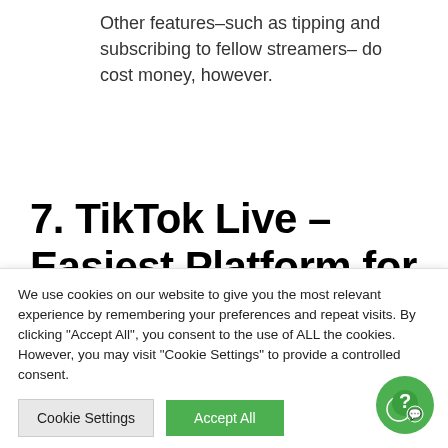Other features–such as tipping and subscribing to fellow streamers– do cost money, however.
7. TikTok Live – Easiest Platform for M...
We use cookies on our website to give you the most relevant experience by remembering your preferences and repeat visits. By clicking "Accept All", you consent to the use of ALL the cookies. However, you may visit "Cookie Settings" to provide a controlled consent.